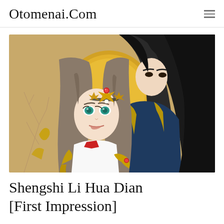Otomenai.Com
[Figure (illustration): Manga/anime illustration showing two characters: a young woman with light brown hair wearing a golden crown/headpiece with red gems, and a tall man with long dark black hair behind her. Both are in elaborate fantasy clothing with gold, blue, and white tones. A golden circle (moon or sun) is visible in the background.]
Shengshi Li Hua Dian [First Impression]